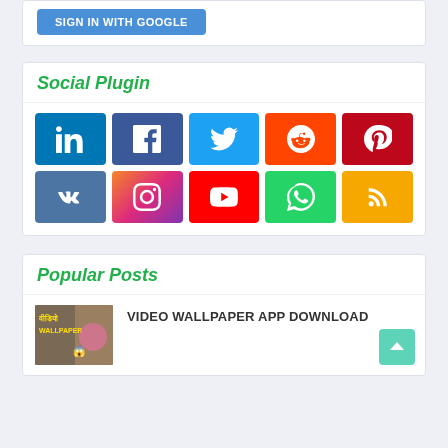[Figure (screenshot): Sign in with Google button (blue rounded rectangle)]
Social Plugin
[Figure (infographic): Social media icon grid: LinkedIn, Facebook, Twitter, Reddit, Pinterest (row 1); VK, Instagram, YouTube, WhatsApp, RSS (row 2)]
Popular Posts
[Figure (photo): Thumbnail image for Video Wallpaper App Download post]
VIDEO WALLPAPER APP DOWNLOAD